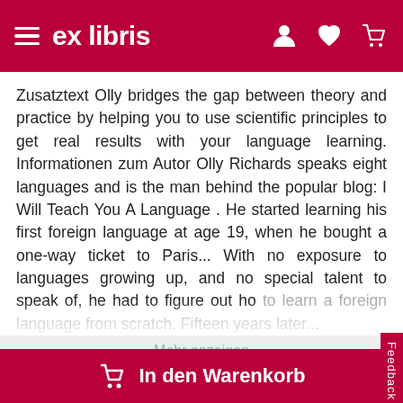ex libris
Zusatztext Olly bridges the gap between theory and practice by helping you to use scientific principles to get real results with your language learning. Informationen zum Autor Olly Richards speaks eight languages and is the man behind the popular blog: I Will Teach You A Language . He started learning his first foreign language at age 19, when he bought a one-way ticket to Paris... With no exposure to languages growing up, and no special talent to speak of, he had to figure out ho to learn a foreign language from scratch. Fifteen years later...
Mehr anzeigen
20%
21.40
CHF 17.10
In den Warenkorb